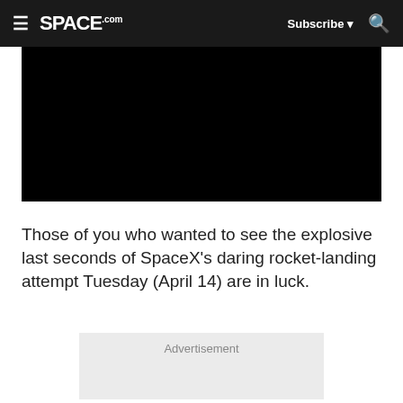SPACE.com — Subscribe — Search
[Figure (screenshot): Black video player embedded in article page]
Those of you who wanted to see the explosive last seconds of SpaceX's daring rocket-landing attempt Tuesday (April 14) are in luck.
Advertisement